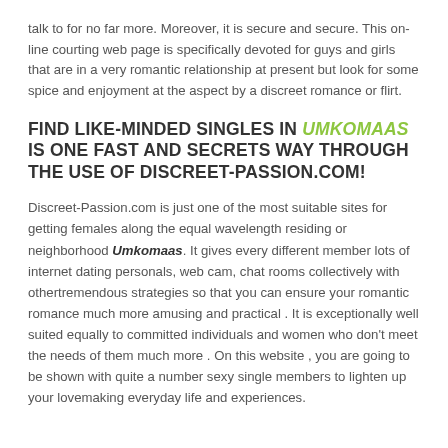talk to for no far more. Moreover, it is secure and secure. This on-line courting web page is specifically devoted for guys and girls that are in a very romantic relationship at present but look for some spice and enjoyment at the aspect by a discreet romance or flirt.
FIND LIKE-MINDED SINGLES IN UMKOMAAS IS ONE FAST AND SECRETS WAY THROUGH THE USE OF DISCREET-PASSION.COM!
Discreet-Passion.com is just one of the most suitable sites for getting females along the equal wavelength residing or neighborhood Umkomaas. It gives every different member lots of internet dating personals, web cam, chat rooms collectively with othertremendous strategies so that you can ensure your romantic romance much more amusing and practical . It is exceptionally well suited equally to committed individuals and women who don't meet the needs of them much more . On this website , you are going to be shown with quite a number sexy single members to lighten up your lovemaking everyday life and experiences.